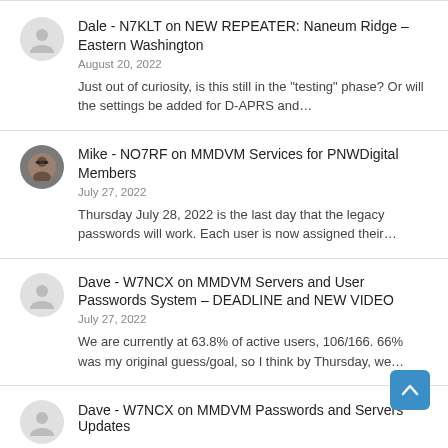Dale - N7KLT on NEW REPEATER: Naneum Ridge – Eastern Washington
August 20, 2022
Just out of curiosity, is this still in the "testing" phase? Or will the settings be added for D-APRS and…
Mike - NO7RF on MMDVM Services for PNWDigital Members
July 27, 2022
Thursday July 28, 2022 is the last day that the legacy passwords will work. Each user is now assigned their…
Dave - W7NCX on MMDVM Servers and User Passwords System – DEADLINE and NEW VIDEO
July 27, 2022
We are currently at 63.8% of active users, 106/166. 66% was my original guess/goal, so I think by Thursday, we…
Dave - W7NCX on MMDVM Passwords and Servers Updates